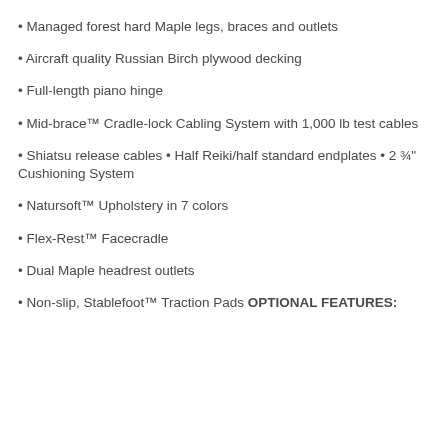Managed forest hard Maple legs, braces and outlets
Aircraft quality Russian Birch plywood decking
Full-length piano hinge
Mid-brace™ Cradle-lock Cabling System with 1,000 lb test cables
Shiatsu release cables • Half Reiki/half standard endplates • 2 ¾" Cushioning System
Natursoft™ Upholstery in 7 colors
Flex-Rest™ Facecradle
Dual Maple headrest outlets
Non-slip, Stablefoot™ Traction Pads OPTIONAL FEATURES: